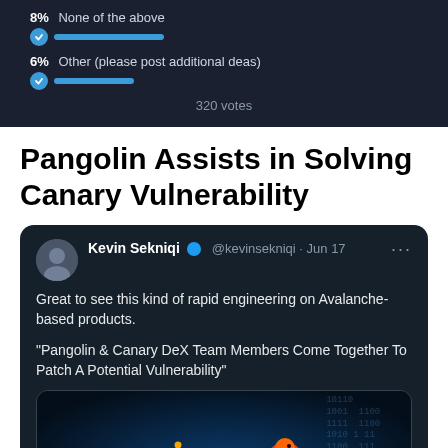[Figure (infographic): Poll results showing two options: 8% None of the above, 6% Other (please post additional ideas), with progress bars and checkmarks. 320 votes total.]
Pangolin Assists in Solving Canary Vulnerability
[Figure (screenshot): Screenshot of a tweet by Kevin Sekniqi @kevinsekniqi on Jun 17 saying: 'Great to see this kind of rapid engineering on Avalanche-based products.' and quoting 'Pangolin & Canary DeX Team Members Come Together To Patch A Potential Vulnerability'. Below the tweet text is an embedded image card showing the Pangolin logo (yellow crescent moon shape) and a red/orange bird-like logo against a dark blue digital/binary background.]